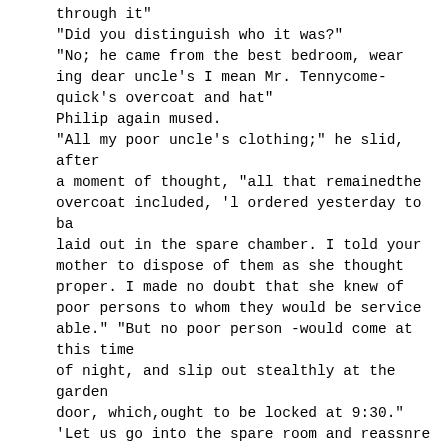through it"
"Did you distinguish who it was?"
"No; he came from the best bedroom, wearing dear uncle's I mean Mr. Tennycome-quick's overcoat and hat"
Philip again mused.
"All my poor uncle's clothing;" he slid, after a moment of thought, "all that remainedthe overcoat included, 'l ordered yesterday to ba laid out in the spare chamber. I told your mother to dispose of them as she thought proper. I made no doubt that she knew of poor persons to whom they would be serviceable." "But no poor person -would come at this time of night, and slip out stealthly at the garden door, which,ought to be locked at 9:30."
'Let us go into the spare room and reassnre ourselves,'.' said Philip. "You will find the overcoat there, and then, perhaps, you will come to the same conclusion that I have, that you have been over-worried and over-wrought and that fancy has conjured np the ghost"
He went back into his room lor a caudle, and Salome, standing alone, with beating heart, on